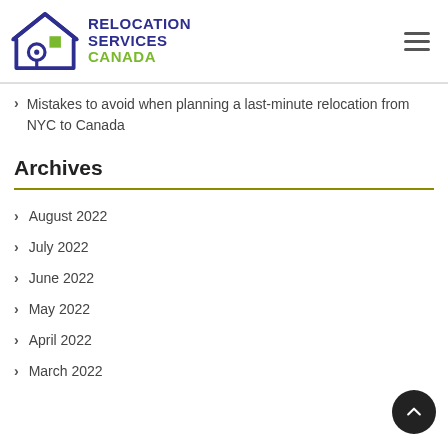[Figure (logo): Relocation Services Canada logo with house icon and text]
Mistakes to avoid when planning a last-minute relocation from NYC to Canada
Archives
August 2022
July 2022
June 2022
May 2022
April 2022
March 2022